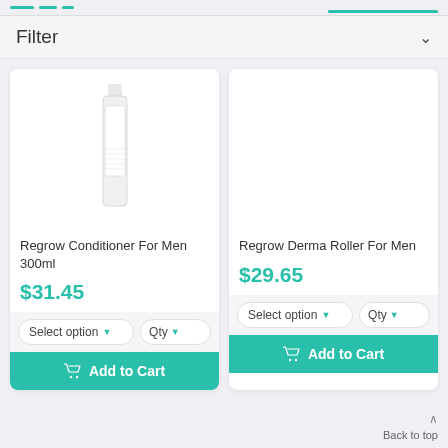Filter
[Figure (photo): Regrow Conditioner For Men 300ml product bottle - white cylindrical bottle with REGROW label]
Regrow Conditioner For Men 300ml
$31.45
Select option  Qty
Add to Cart
[Figure (other): Regrow Derma Roller For Men - empty image area, product image not loaded]
Regrow Derma Roller For Men
$29.65
Select option  Qty
Add to Cart
Back to top